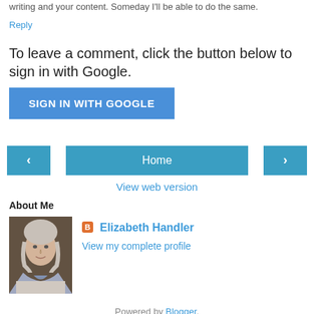writing and your content. Someday I'll be able to do the same.
Reply
To leave a comment, click the button below to sign in with Google.
SIGN IN WITH GOOGLE
‹
Home
›
View web version
About Me
[Figure (photo): Profile photo of Elizabeth Handler, a woman with gray hair and a scarf]
Elizabeth Handler
View my complete profile
Powered by Blogger.